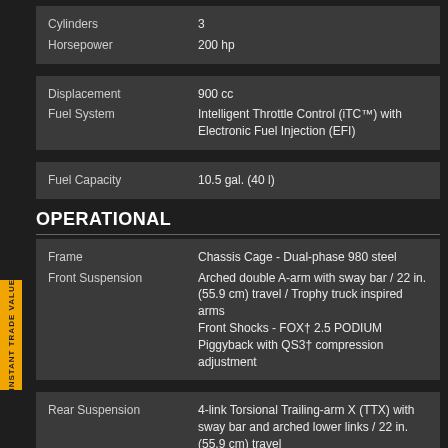| Spec | Value |
| --- | --- |
| Cylinders | 3 |
| Horsepower | 200 hp |
| Spec | Value |
| --- | --- |
| Displacement | 900 cc |
| Fuel System | Intelligent Throttle Control (iTC™) with Electronic Fuel Injection (EFI) |
| Spec | Value |
| --- | --- |
| Fuel Capacity | 10.5 gal. (40 l) |
OPERATIONAL
| Spec | Value |
| --- | --- |
| Frame | Chassis Cage - Dual-phase 980 steel |
| Front Suspension | Arched double A-arm with sway bar / 22 in. (55.9 cm) travel / Trophy truck inspired arms
Front Shocks - FOX† 2.5 PODIUM Piggyback with QS3† compression adjustment |
| Spec | Value |
| --- | --- |
| Rear Suspension | 4-link Torsional Trailing-arm X (TTX) with sway bar and arched lower links / 22 in. (55.9 cm) travel
Rear Shocks - FOX† 2.5 PODIUM |